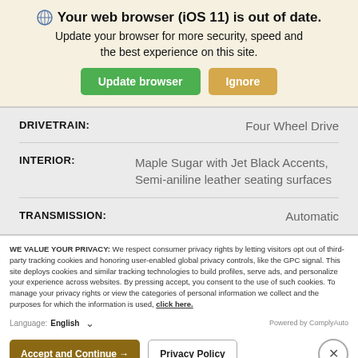Your web browser (iOS 11) is out of date. Update your browser for more security, speed and the best experience on this site.
| LABEL | VALUE |
| --- | --- |
| DRIVETRAIN: | Four Wheel Drive |
| INTERIOR: | Maple Sugar with Jet Black Accents, Semi-aniline leather seating surfaces |
| TRANSMISSION: | Automatic |
WE VALUE YOUR PRIVACY: We respect consumer privacy rights by letting visitors opt out of third-party tracking cookies and honoring user-enabled global privacy controls, like the GPC signal. This site deploys cookies and similar tracking technologies to build profiles, serve ads, and personalize your experience across websites. By pressing accept, you consent to the use of such cookies. To manage your privacy rights or view the categories of personal information we collect and the purposes for which the information is used, click here.
Language: English ∨  Powered by ComplyAuto
Accept and Continue →   Privacy Policy   ×